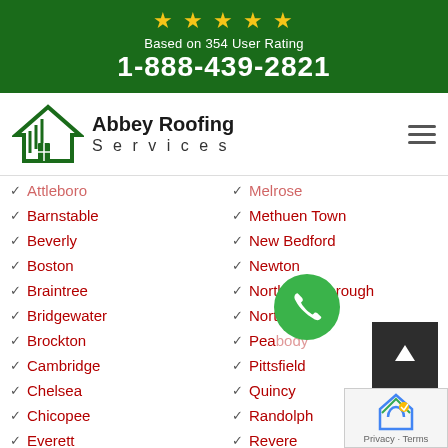★★★★★ Based on 354 User Rating 1-888-439-2821
[Figure (logo): Abbey Roofing Services logo with green roof/house icon and brand name]
Attleboro
Melrose
Barnstable
Methuen Town
Beverly
New Bedford
Boston
Newton
Braintree
North Attleborough
Bridgewater
Northampton
Brockton
Peabody
Cambridge
Pittsfield
Chelsea
Quincy
Chicopee
Randolph
Everett
Revere
Fall River
Salem